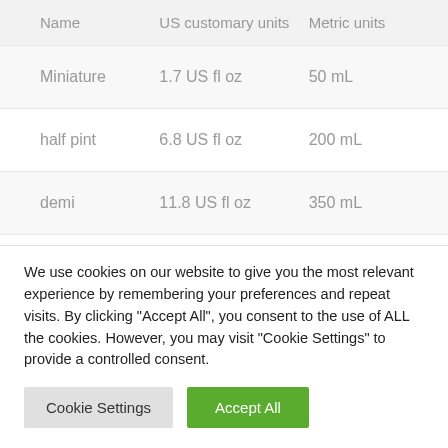| Name | US customary units | Metric units |
| --- | --- | --- |
| Miniature | 1.7 US fl oz | 50 mL |
| half pint | 6.8 US fl oz | 200 mL |
| demi | 11.8 US fl oz | 350 mL |
| shoulder | 11.8 US fl oz | 350 mL |
We use cookies on our website to give you the most relevant experience by remembering your preferences and repeat visits. By clicking "Accept All", you consent to the use of ALL the cookies. However, you may visit "Cookie Settings" to provide a controlled consent.